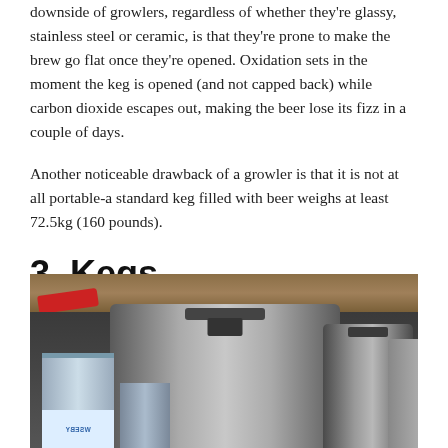downside of growlers, regardless of whether they're glassy, stainless steel or ceramic, is that they're prone to make the brew go flat once they're opened. Oxidation sets in the moment the keg is opened (and not capped back) while carbon dioxide escapes out, making the beer lose its fizz in a couple of days.
Another noticeable drawback of a growler is that it is not at all portable-a standard keg filled with beer weighs at least 72.5kg (160 pounds).
3. Kegs
[Figure (photo): Photo of metal kegs and a can on a wooden shelf, with a red skateboard visible in the background. The kegs are stainless steel with fittings on top.]